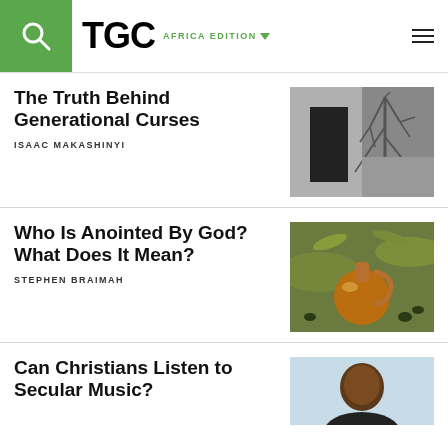TGC AFRICA EDITION
The Truth Behind Generational Curses
ISAAC MAKASHINYI
[Figure (photo): Black and white photo of a bare tree with branches against a wall with a dark doorway]
Who Is Anointed By God? What Does It Mean?
STEPHEN BRAIMAH
[Figure (photo): Color photo of a glass decanter with amber oil surrounded by olive tree branches and olives]
Can Christians Listen to Secular Music?
[Figure (photo): Portrait photo of a man against a light blue background]